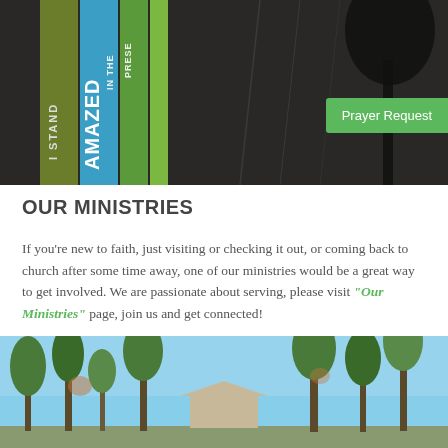[Figure (photo): Hero banner image showing book covers or banners with text 'I STAND', 'AMAZED IN THE', 'PRESENCE' on green/blue/dark striped background with a tree silhouette on the right. A green 'Prayer Request' button overlays the right side.]
OUR MINISTRIES
If you're new to faith, just visiting or checking it out, or coming back to church after some time away, one of our ministries would be a great way to get involved. We are passionate about serving, please visit "Our Ministries" page, join us and get connected!
[Figure (photo): Outdoor photo showing tall pine trees against a blue sky with a building or church structure partially visible at the bottom center.]